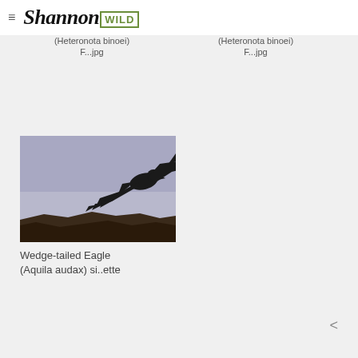Shannon WILD
(Heteronota binoei) F...jpg
(Heteronota binoei) F...jpg
[Figure (photo): Silhouette of a Wedge-tailed Eagle in flight against a lavender-grey sky, with dark rocky ground below]
Wedge-tailed Eagle (Aquila audax) si..ette